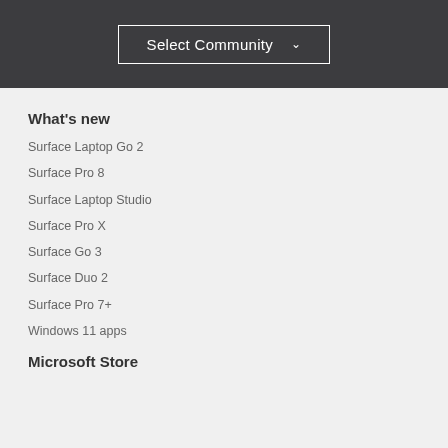[Figure (screenshot): Select Community dropdown button with chevron, on dark grey background]
What's new
Surface Laptop Go 2
Surface Pro 8
Surface Laptop Studio
Surface Pro X
Surface Go 3
Surface Duo 2
Surface Pro 7+
Windows 11 apps
Microsoft Store